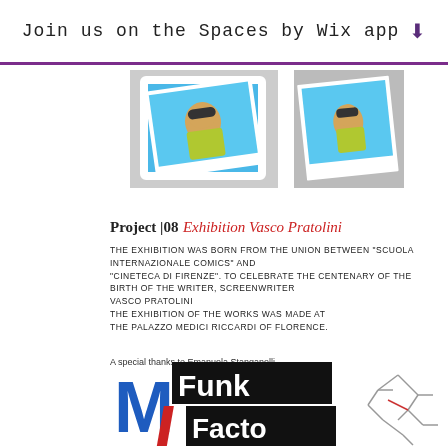Join us on the Spaces by Wix app
[Figure (photo): Two tilted photo prints of a man with sunglasses outdoors, comic/photo style, side by side]
Project |08 Exhibition Vasco Pratolini
THE EXHIBITION WAS BORN FROM THE UNION BETWEEN "SCUOLA INTERNAZIONALE COMICS" AND "CINETECA DI FIRENZE". TO CELEBRATE THE CENTENARY OF THE BIRTH OF THE WRITER, SCREENWRITER VASCO PRATOLINI
THE EXHIBITION OF THE WORKS WAS MADE AT THE PALAZZO MEDICI RICCARDI OF FLORENCE.
A special thanks to Emanuela Stanganelli.
[Figure (logo): M Funk Factory logo with large M in blue, text on black background, and a metro/subway map schematic on the right]